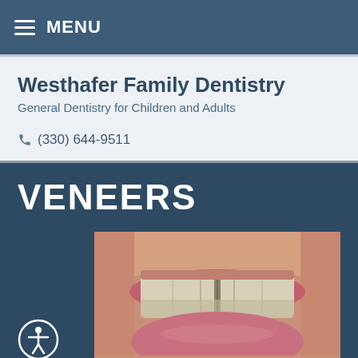≡ MENU
Westhafer Family Dentistry
General Dentistry for Children and Adults
☎ (330) 644-9511
VENEERS
[Figure (photo): Close-up photo of a person smiling showing teeth with a gap between the two front upper teeth, before dental veneer treatment. Lips are visible with pink lipstick.]